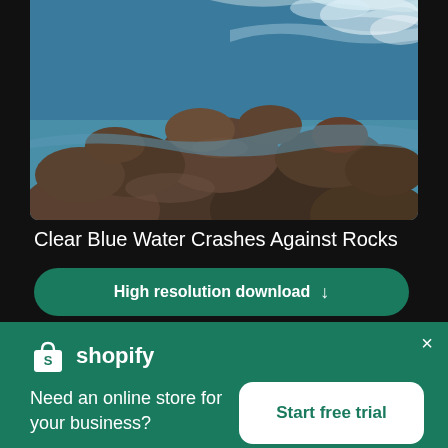[Figure (photo): Aerial view of clear blue ocean water crashing against dark rocks]
Clear Blue Water Crashes Against Rocks
High resolution download ↓
[Figure (photo): Blurred photo strip showing people, partially visible]
[Figure (logo): Shopify logo - white bag icon with S and white shopify text]
Need an online store for your business?
Start free trial